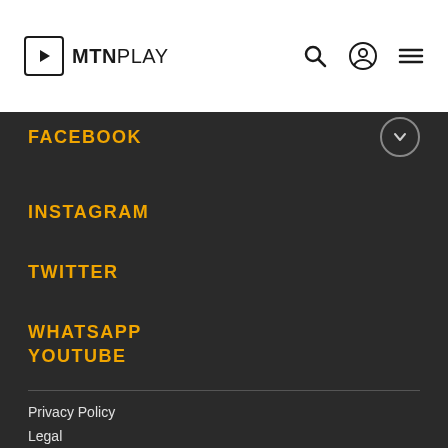MTN PLAY
FACEBOOK
INSTAGRAM
TWITTER
WHATSAPP
YOUTUBE
Privacy Policy
Legal